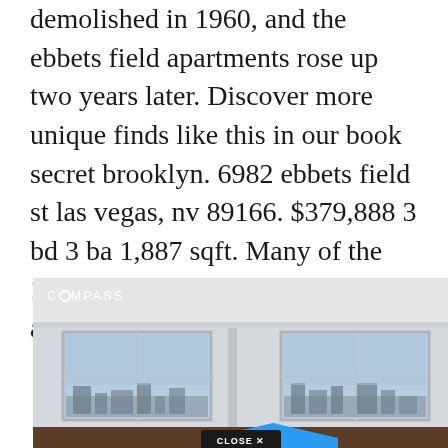Demolished in 1960, and the ebbets field apartments rose up two years later. Discover more unique finds like this in our book secret brooklyn. 6982 ebbets field st las vegas, nv 89166. $379,888 3 bd 3 ba 1,887 sqft. Many of the 1,300 units of ebbets field apartments have balcony.
[Figure (photo): Interior photo of a bright apartment with large windows showing city skyline views, white walls and ceiling with crown molding, hardwood floor. Compass real estate branding logo in top left corner. Close button at bottom center.]